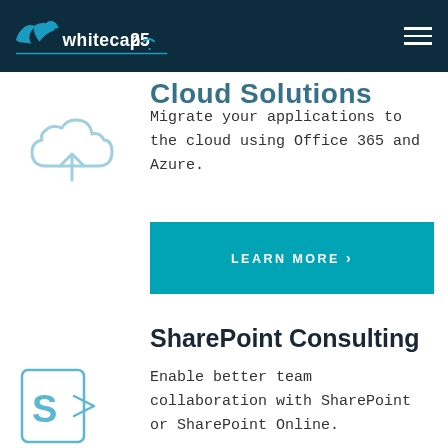whitecap25
Cloud Solutions
Migrate your applications to the cloud using Office 365 and Azure.
[Figure (illustration): Light blue cloud upload icon with upward arrow]
LEARN MORE >
SharePoint Consulting
Enable better team collaboration with SharePoint or SharePoint Online.
[Figure (logo): SharePoint icon — letter S with arrow, light blue outline style]